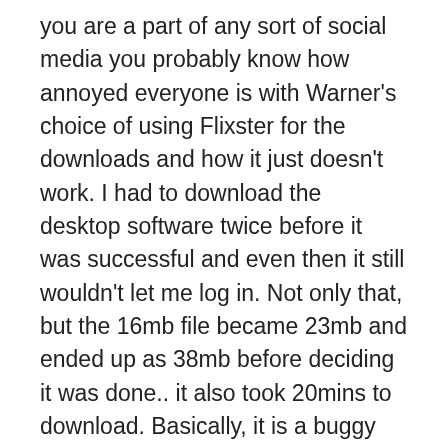you are a part of any sort of social media you probably know how annoyed everyone is with Warner's choice of using Flixster for the downloads and how it just doesn't work. I had to download the desktop software twice before it was successful and even then it still wouldn't let me log in. Not only that, but the 16mb file became 23mb and ended up as 38mb before deciding it was done.. it also took 20mins to download. Basically, it is a buggy piece of crap.
In the end, after trying for at least an hour to get the damn software to work, we found a torrent and downloaded it instead. It took about 30mins and I could watch it on whatever device I wanted (with flixster we were going to resort to hooking up my